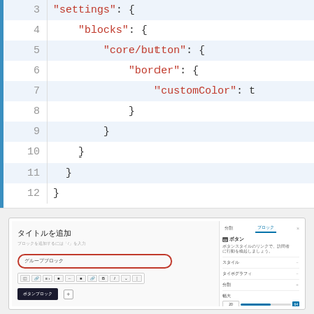[Figure (screenshot): Code editor screenshot showing JSON theme.json configuration lines 3-12 with line numbers, blue left bar, alternating row backgrounds, and red string literals for keys like 'settings', 'blocks', 'core/button', 'border', 'customColor'.]
[Figure (screenshot): WordPress block editor screenshot showing a page with a group block containing a button block, with a red-outlined group block label, toolbar, and a right sidebar showing block settings including style, typography, size controls.]